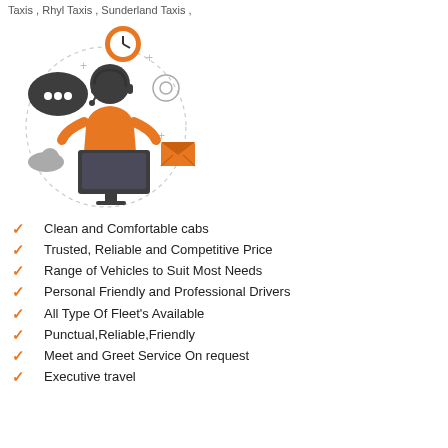Taxis , Rhyl Taxis , Sunderland Taxis ,
[Figure (illustration): Customer service agent illustration with headset, sitting at a computer, surrounded by icons including a clock, chat bubble, cloud, email envelope, and decorative plus signs and dots.]
Clean and Comfortable cabs
Trusted, Reliable and Competitive Price
Range of Vehicles to Suit Most Needs
Personal Friendly and Professional Drivers
All Type Of Fleet's Available
Punctual,Reliable,Friendly
Meet and Greet Service On request
Executive travel